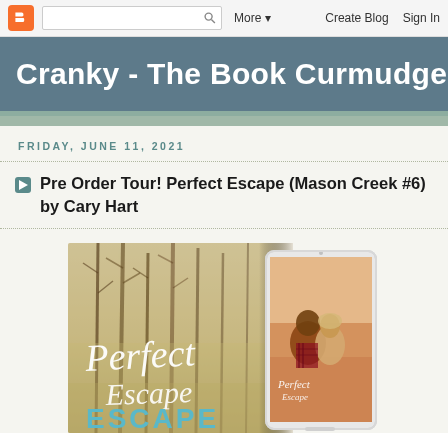Blogger navbar with logo, search bar, More, Create Blog, Sign In
Cranky - The Book Curmudgeon
FRIDAY, JUNE 11, 2021
Pre Order Tour! Perfect Escape (Mason Creek #6) by Cary Hart
[Figure (illustration): Book cover promotional image for 'Perfect Escape' by Cary Hart showing the book title in script and block letters over a misty forest background, alongside a tablet/e-reader displaying the same book cover with a couple embracing]